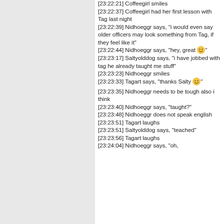[23:22:21] Coffeegirl smiles
[23:22:37] Coffeegirl had her first lesson with Tag last night
[23:22:39] Nidhoeggr says, "i would even say older officers may look something from Tag, if they feel like it"
[23:22:44] Nidhoeggr says, "hey, great 😀"
[23:23:17] Saltyolddog says, "i have jobbed with tag he already taught me stuff"
[23:23:23] Nidhoeggr smiles
[23:23:33] Tagart says, "thanks Salty 😀"
[23:23:35] Nidhoeggr needs to be tough also i think
[23:23:40] Nidhoeggr says, "taught?"
[23:23:48] Nidhoeggr does not speak english
[23:23:51] Tagart laughs
[23:23:51] Saltyolddog says, "teached"
[23:23:56] Tagart laughs
[23:24:04] Nidhoeggr says, "oh,